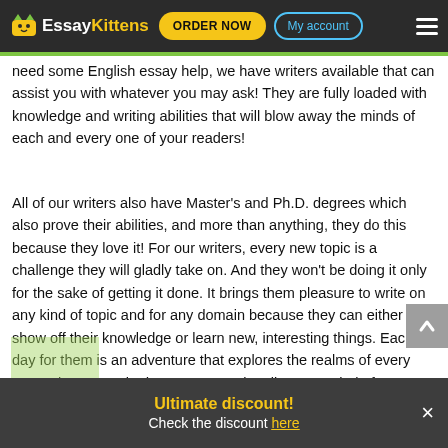EssayKittens — ORDER NOW | My account
need some English essay help, we have writers available that can assist you with whatever you may ask! They are fully loaded with knowledge and writing abilities that will blow away the minds of each and every one of your readers!
All of our writers also have Master's and Ph.D. degrees which also prove their abilities, and more than anything, they do this because they love it! For our writers, every new topic is a challenge they will gladly take on. And they won't be doing it only for the sake of getting it done. It brings them pleasure to write on any kind of topic and for any domain because they can either show off their knowledge or learn new, interesting things. Each day for them is an adventure that explores the realms of every essay they are asked to create! Seek online essay help from EssayKittens.com and we will make sure that our writers will give their best to provide you with
Ultimate discount!
Check the discount here